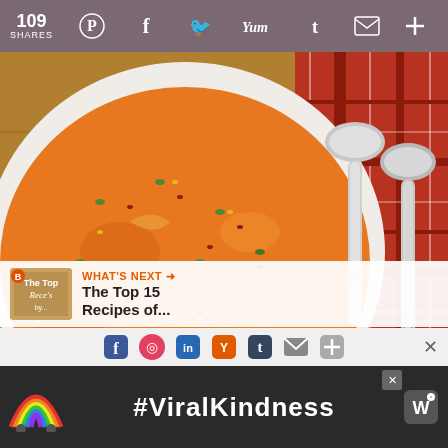109 SHARES  [Pinterest] [Facebook] [Twitter] [Yummly] [Tumblr] [Email] [More]
[Figure (photo): Close-up photo of a creamy orange soup in a white bowl, garnished with red chili flakes and fresh green herbs, placed on a rustic wooden surface next to a plaid red cloth and a silver spoon.]
[Figure (infographic): What's Next overlay: thumbnail of a recipe book cover and text reading 'WHAT'S NEXT → The Top 15 Recipes of...']
[Figure (infographic): Advertisement banner with a rainbow illustration and the hashtag #ViralKindness on a dark background, with a close button and an app logo.]